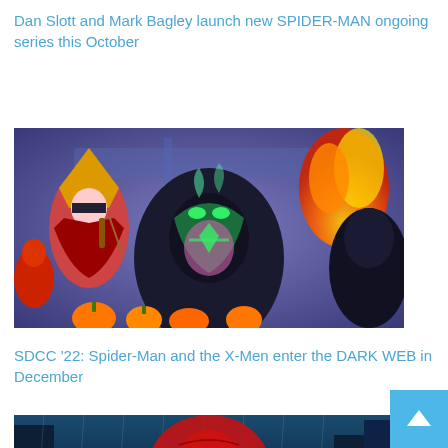Dan Slott and Mark Bagley launch new SPIDER-MAN ongoing series this October
[Figure (illustration): Comic book artwork showing a dark Spider-Man villain character with green glowing details in the center, a hooded female character with a violin on the left, fire on the upper right, and pumpkins at the bottom]
SDCC '22: Spider-Man and the X-Men enter the DARK WEB in December
[Figure (illustration): Comic book artwork showing Spider-Man in a rainy city scene, partially visible at the bottom of the page]